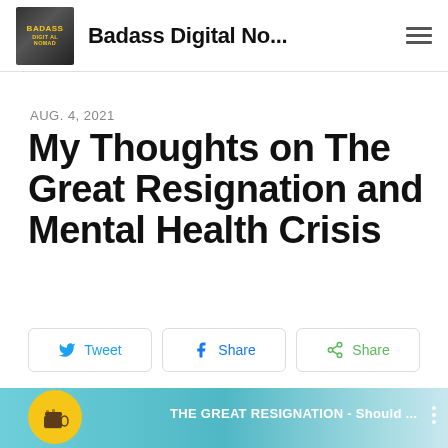Badass Digital No...
AUG. 4, 2021
My Thoughts on The Great Resignation and Mental Health Crisis
[Figure (screenshot): Social share buttons row with Tweet, Share (Facebook), and Share icons]
[Figure (screenshot): Video thumbnail with text 'THE GREAT RESIGNATION - Should ...' and a coffee cup badge icon in yellow circle at lower left]